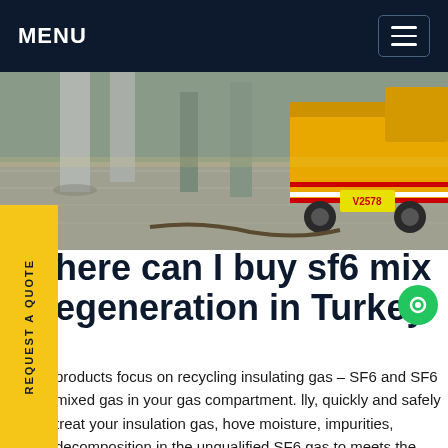MENU
[Figure (photo): Outdoor industrial/construction site photo showing a large yellow truck or equipment vehicle with license plate V2578, concrete columns and paved ground, hoses on ground, under bright daylight.]
Where can I buy sf6 mix regeneration in Turkey
products focus on recycling insulating gas – SF6 and SF6 mixed gas in your gas compartment. lly, quickly and safely treat your insulation gas, hove moisture, impurities, decomposition in the unqualified SF6 gas to meets the IEC standard, and realize waste gas can be reused again. 750kv-substation-onsite-service.Get price